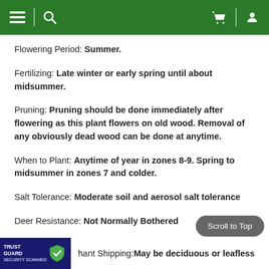Navigation bar with menu, search, cart, and profile icons
Flowering Period: Summer.
Fertilizing: Late winter or early spring until about midsummer.
Pruning: Pruning should be done immediately after flowering as this plant flowers on old wood. Removal of any obviously dead wood can be done at anytime.
When to Plant: Anytime of year in zones 8-9. Spring to midsummer in zones 7 and colder.
Salt Tolerance: Moderate soil and aerosol salt tolerance
Deer Resistance: Not Normally Bothered
Plant Shipping: May be deciduous or leafless